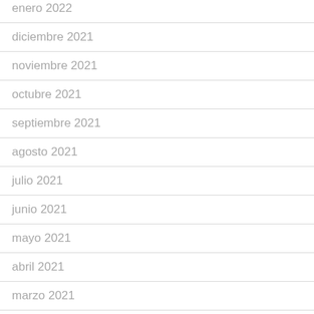enero 2022
diciembre 2021
noviembre 2021
octubre 2021
septiembre 2021
agosto 2021
julio 2021
junio 2021
mayo 2021
abril 2021
marzo 2021